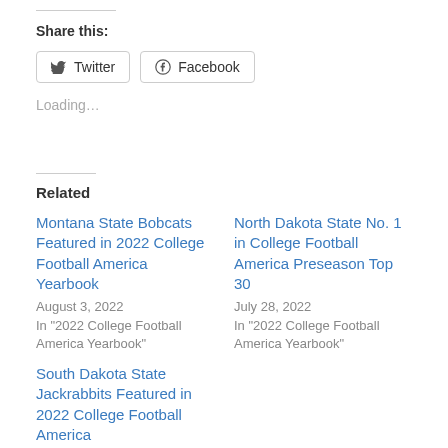Share this:
Twitter  Facebook
Loading…
Related
Montana State Bobcats Featured in 2022 College Football America Yearbook
August 3, 2022
In "2022 College Football America Yearbook"
North Dakota State No. 1 in College Football America Preseason Top 30
July 28, 2022
In "2022 College Football America Yearbook"
South Dakota State Jackrabbits Featured in 2022 College Football America